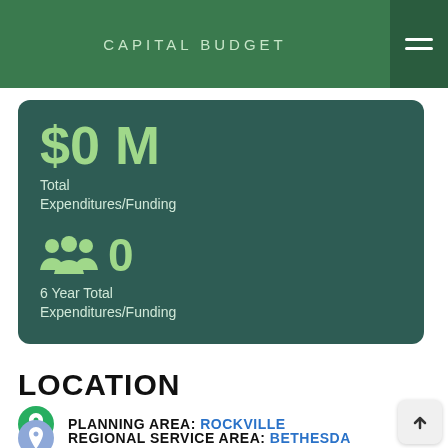CAPITAL BUDGET
$0 M
Total Expenditures/Funding
0
6 Year Total Expenditures/Funding
LOCATION
PLANNING AREA: Rockville
REGIONAL SERVICE AREA: Bethesda